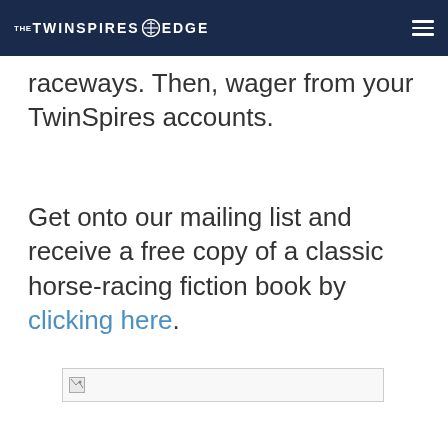THE TWINSPIRES EDGE
raceways. Then, wager from your TwinSpires accounts.
Get onto our mailing list and receive a free copy of a classic horse-racing fiction book by clicking here.
[Figure (photo): Broken image placeholder — a partially loaded image shown as a small icon with border]